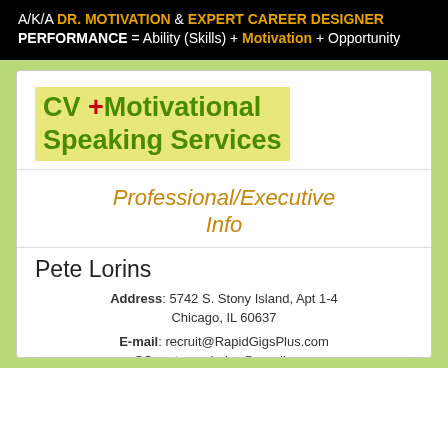A/K/A DR. MOTIVATION & EXPERT CAREER DESIGNER
PERFORMANCE = Ability (Skills) + Motivation + Opportunity
CV + Motivational Speaking Services
Professional/Executive Info
Pete Lorins
Address: 5742 S. Stony Island, Apt 1-4
Chicago, IL 60637
E-mail: recruit@RapidGigsPlus.com
CC: petersonlorins@gmail.com